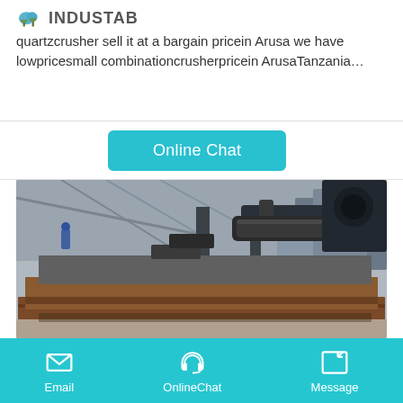INDUSTAB
quartzcrusher sell it at a bargain pricein Arusa we have lowpricesmall combinationcrusherpricein ArusaTanzania...
[Figure (screenshot): Online Chat button (cyan/teal rounded rectangle)]
[Figure (photo): Industrial crusher jaw plates stacked in a factory setting, showing heavy rusty iron/steel wear parts on a concrete floor with industrial machinery in the background]
Email   OnlineChat   Message